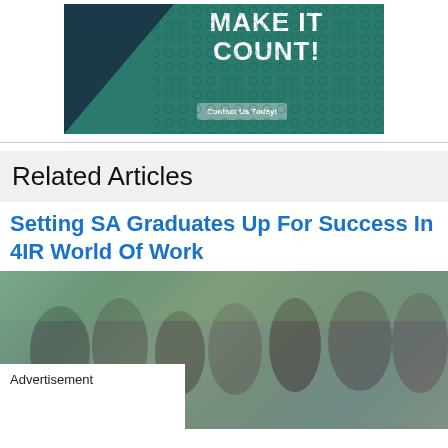[Figure (illustration): Advertisement banner with teal background, dark navy triangle on left, bold white text reading 'MAKE IT COUNT!' with a 'Contact Us Today!' button and decorative pattern]
Related Articles
Setting SA Graduates Up For Success In 4IR World Of Work
[Figure (photo): Group photo of young South African graduates or students posing together outdoors near a building]
Advertisement